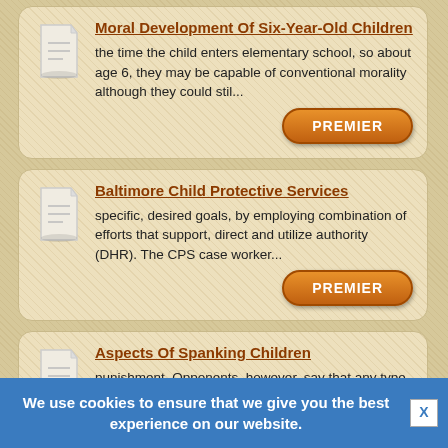Moral Development Of Six-Year-Old Children
the time the child enters elementary school, so about age 6, they may be capable of conventional morality although they could stil...
Baltimore Child Protective Services
specific, desired goals, by employing combination of efforts that support, direct and utilize authority (DHR). The CPS case worker...
Aspects Of Spanking Children
punishment. Opponents, however, say that any type of hands-on striking of any force serves to send the child the
We use cookies to ensure that we give you the best experience on our website.